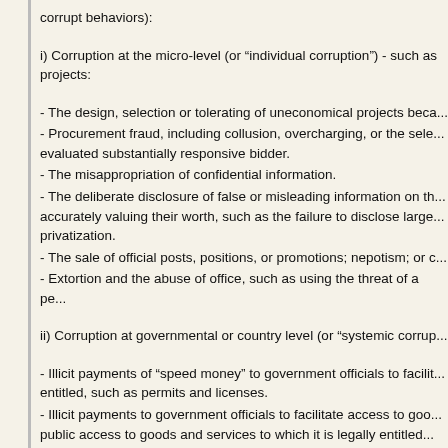corrupt behaviors):
i) Corruption at the micro-level (or “individual corruption”) - such as projects:
- The design, selection or tolerating of uneconomical projects beca...
- Procurement fraud, including collusion, overcharging, or the sele... evaluated substantially responsive bidder.
- The misappropriation of confidential information.
- The deliberate disclosure of false or misleading information on th... accurately valuing their worth, such as the failure to disclose large... privatization.
- The sale of official posts, positions, or promotions; nepotism; or c...
- Extortion and the abuse of office, such as using the threat of a pe...
ii) Corruption at governmental or country level (or “systemic corrup...
- Illicit payments of “speed money” to government officials to facilit... entitled, such as permits and licenses.
- Illicit payments to government officials to facilitate access to goo... public access to goods and services to which it is legally entitled...